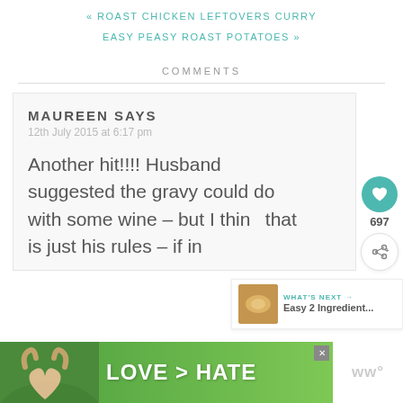« ROAST CHICKEN LEFTOVERS CURRY
EASY PEASY ROAST POTATOES »
COMMENTS
MAUREEN SAYS
12th July 2015 at 6:17 pm
Another hit!!!! Husband suggested the gravy could do with some wine – but I thin[k] that is just his rules – if in
[Figure (infographic): Advertisement banner: hands forming heart shape with text LOVE > HATE on green background]
[Figure (infographic): What's Next panel showing Easy 2 Ingredient... article preview]